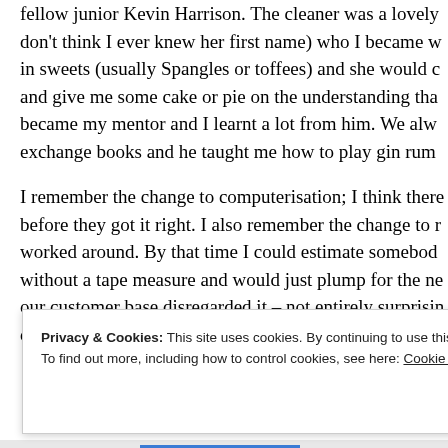fellow junior Kevin Harrison. The cleaner was a lovely (don't think I ever knew her first name) who I became very friendly with — I would bring her in sweets (usually Spangles or toffees) and she would come and give me some cake or pie on the understanding that... became my mentor and I learnt a lot from him. We always exchange books and he taught me how to play gin rum...
I remember the change to computerisation; I think there were several attempts before they got it right. I also remember the change to metric which we worked around. By that time I could estimate somebody's measurements without a tape measure and would just plump for the nearest size. Most of our customer base disregarded it – not entirely surprising as they were still coming to terms with decimal currency.
Privacy & Cookies: This site uses cookies. By continuing to use this website, you agree to their use.
To find out more, including how to control cookies, see here: Cookie Policy